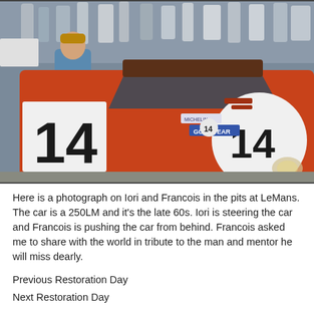[Figure (photo): A vintage color photograph showing a man in a blue jacket leaning against a red Ferrari 250LM racing car numbered 14 in the pits at LeMans. The car has a Goodyear sticker and the number 14 appears on both sides. Crowd of people visible in the background. Late 1960s setting.]
Here is a photograph on Iori and Francois in the pits at LeMans. The car is a 250LM and it's the late 60s. Iori is steering the car and Francois is pushing the car from behind. Francois asked me to share with the world in tribute to the man and mentor he will miss dearly.
Previous Restoration Day
Next Restoration Day